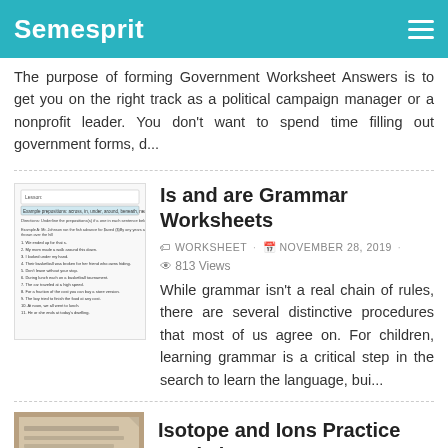Semesprit
The purpose of forming Government Worksheet Answers is to get you on the right track as a political campaign manager or a nonprofit leader. You don't want to spend time filling out government forms, d...
[Figure (screenshot): Thumbnail image of a grammar worksheet with numbered sentences about prepositions]
Is and are Grammar Worksheets
WORKSHEET · NOVEMBER 28, 2019 · 813 Views
While grammar isn't a real chain of rules, there are several distinctive procedures that most of us agree on. For children, learning grammar is a critical step in the search to learn the language, bui...
[Figure (photo): Photo of a handwritten worksheet on a wooden desk — Isotope and Ions Practice Worksheet]
Isotope and Ions Practice Worksheet